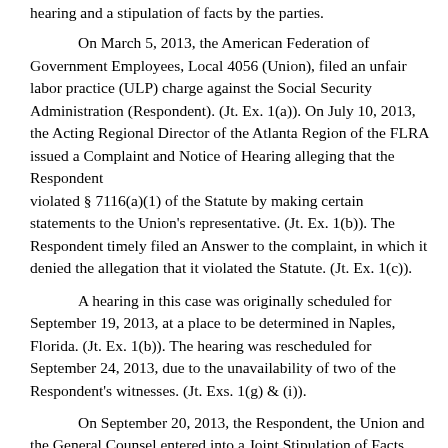hearing and a stipulation of facts by the parties.
On March 5, 2013, the American Federation of Government Employees, Local 4056 (Union), filed an unfair labor practice (ULP) charge against the Social Security Administration (Respondent). (Jt. Ex. 1(a)). On July 10, 2013, the Acting Regional Director of the Atlanta Region of the FLRA issued a Complaint and Notice of Hearing alleging that the Respondent violated § 7116(a)(1) of the Statute by making certain statements to the Union's representative. (Jt. Ex. 1(b)). The Respondent timely filed an Answer to the complaint, in which it denied the allegation that it violated the Statute. (Jt. Ex. 1(c)).
A hearing in this case was originally scheduled for September 19, 2013, at a place to be determined in Naples, Florida. (Jt. Ex. 1(b)). The hearing was rescheduled for September 24, 2013, due to the unavailability of two of the Respondent's witnesses. (Jt. Exs. 1(g) & (i)).
On September 20, 2013, the Respondent, the Union and the General Counsel entered into a Joint Stipulation of Facts, pursuant to § 2423.26 of the Rules and Regulations of the Authority. The parties agreed that the Charges, the Complaint